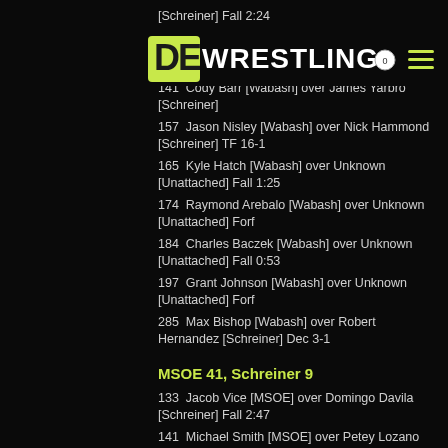DISCOVER DEVELOP EDUCATE
[Schreiner] Fall 2:24
141  Cody Barr [Wabash] over James Yarbro [Schreiner]
157  Jason Nisley [Wabash] over Nick Hammond [Schreiner] TF 16-1
165  Kyle Hatch [Wabash] over Unknown [Unattached] Fall 1:25
174  Raymond Arebalo [Wabash] over Unknown [Unattached] Forf
184  Charles Baczek [Wabash] over Unknown [Unattached] Fall 0:53
197  Grant Johnson [Wabash] over Unknown [Unattached] Forf
285  Max Bishop [Wabash] over Robert Hernandez [Schreiner] Dec 3-1
MSOE 41, Schreiner 9
133  Jacob Vice [MSOE] over Domingo Davila [Schreiner] Fall 2:47
141  Michael Smith [MSOE] over Petey Lozano [Schreiner] Fall 4:28
149  Max Sanderfoot [MSOE] over James Yarbro [Schreiner] Fall 6:40
157  Gianni Rago [MSOE] over James Yarbro [Schreiner] TF 17-2
165  Caleb Brick [MSOE] over Jesus Carpenter